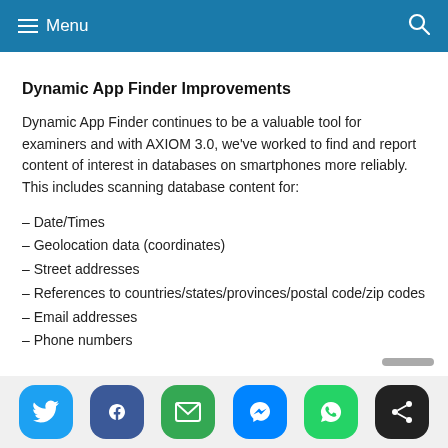Menu
Dynamic App Finder Improvements
Dynamic App Finder continues to be a valuable tool for examiners and with AXIOM 3.0, we've worked to find and report content of interest in databases on smartphones more reliably. This includes scanning database content for:
– Date/Times
– Geolocation data (coordinates)
– Street addresses
– References to countries/states/provinces/postal code/zip codes
– Email addresses
– Phone numbers
[Figure (infographic): Social sharing buttons bar with icons for Twitter, Facebook, Email, Messenger, WhatsApp, and Share]